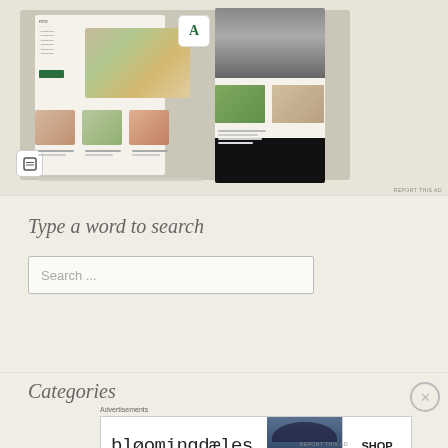[Figure (screenshot): Advertisement showing a magazine/food blog app layout with food photography, person photo, logo card with letter A, and a small icon card. Beige/cream background.]
REPORT THIS AD
Type a word to search
Search ...
Categories
Advertisements
[Figure (screenshot): Bloomingdale's advertisement banner showing logo text 'bloomingdales', subtext 'View Today's Top Deals!', a woman in a wide-brim hat, and a 'SHOP NOW >' button.]